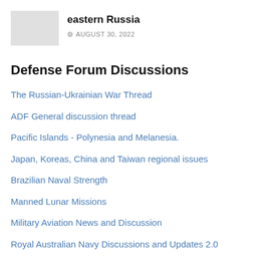[Figure (photo): Small thumbnail image placeholder (gray box)]
eastern Russia
AUGUST 30, 2022
Defense Forum Discussions
The Russian-Ukrainian War Thread
ADF General discussion thread
Pacific Islands - Polynesia and Melanesia.
Japan, Koreas, China and Taiwan regional issues
Brazilian Naval Strength
Manned Lunar Missions
Military Aviation News and Discussion
Royal Australian Navy Discussions and Updates 2.0